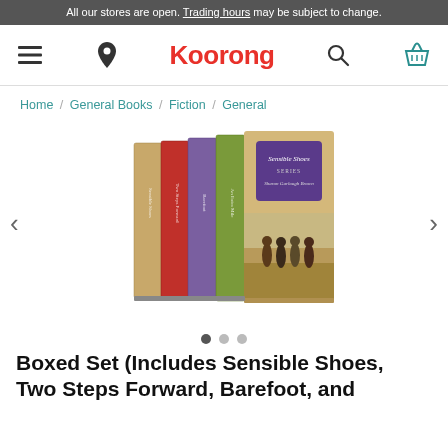All our stores are open. Trading hours may be subject to change.
[Figure (logo): Koorong website navigation bar with hamburger menu icon, location pin icon, Koorong logo in red, search icon, and basket/cart icon in teal]
Home / General Books / Fiction / General
[Figure (photo): Boxed set of Sensible Shoes series books showing four book spines and a box with four women holding hands on the cover]
Boxed Set (Includes Sensible Shoes, Two Steps Forward, Barefoot, and